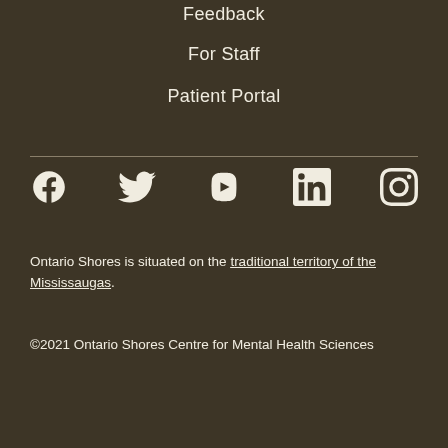Feedback
For Staff
Patient Portal
[Figure (infographic): Social media icons: Facebook, Twitter, YouTube, LinkedIn, Instagram]
Ontario Shores is situated on the traditional territory of the Mississaugas.
©2021 Ontario Shores Centre for Mental Health Sciences